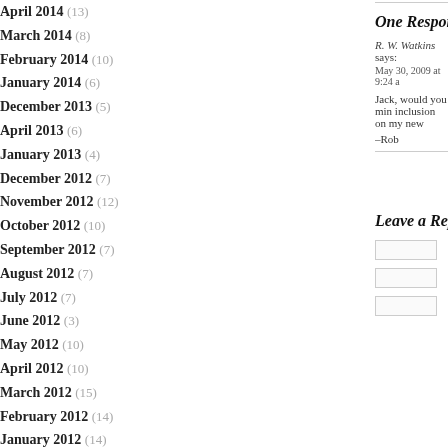April 2014 (13)
March 2014 (8)
February 2014 (10)
January 2014 (6)
December 2013 (5)
April 2013 (6)
January 2013 (4)
December 2012 (7)
November 2012 (12)
October 2012 (10)
September 2012 (7)
August 2012 (7)
July 2012 (7)
June 2012 (3)
May 2012 (10)
April 2012 (10)
March 2012 (15)
February 2012 (14)
January 2012 (14)
December 2011 (11)
November 2011 (14)
October 2011 (14)
September 2011 (5)
One Response
R. W. Watkins says:
May 30, 2009 at 9:24 a
Jack, would you min inclusion on my new
–Rob
Leave a Reply